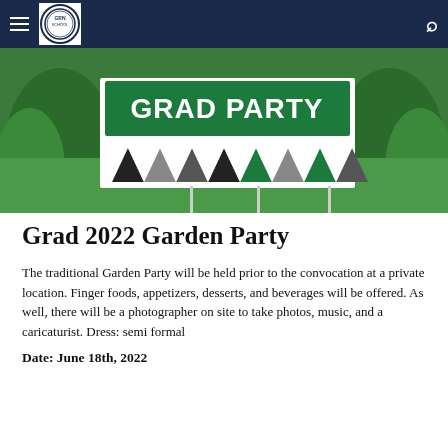Navigation bar with hamburger menu, school logo, and search icon
[Figure (photo): Outdoor photo of a green yard sign reading 'GRAD PARTY' with triangular black, grey, and green geometric pattern border, placed in grass with tropical plants in background]
Grad 2022 Garden Party
The traditional Garden Party will be held prior to the convocation at a private location. Finger foods, appetizers, desserts, and beverages will be offered. As well, there will be a photographer on site to take photos, music, and a caricaturist. Dress: semi formal
Date: June 18th, 2022